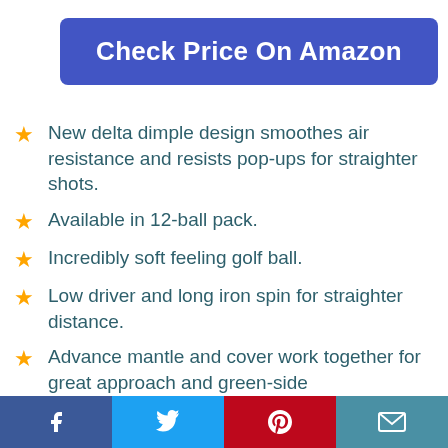Check Price On Amazon
New delta dimple design smoothes air resistance and resists pop-ups for straighter shots.
Available in 12-ball pack.
Incredibly soft feeling golf ball.
Low driver and long iron spin for straighter distance.
Advance mantle and cover work together for great approach and green-side
Facebook | Twitter | Pinterest | Email